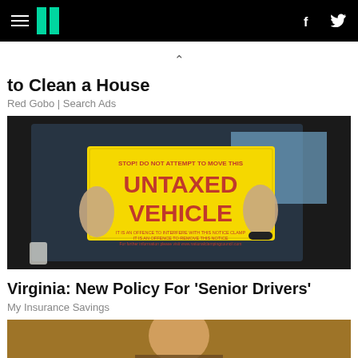HuffPost navigation header with hamburger menu, logo, Facebook and Twitter icons
to Clean a House
Red Gobo | Search Ads
[Figure (photo): Person holding a yellow sign reading 'STOP! DO NOT ATTEMPT TO MOVE THIS UNTAXED VEHICLE' through a car window]
Virginia: New Policy For 'Senior Drivers'
My Insurance Savings
[Figure (photo): Partially visible photo of a man, cropped at bottom of page]